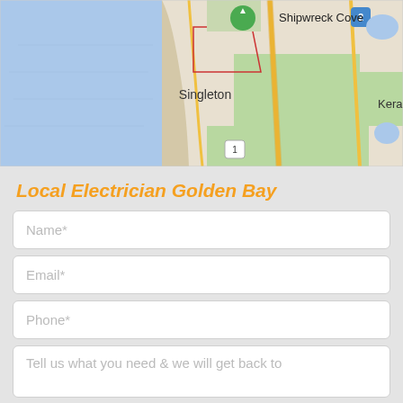[Figure (map): Google Maps screenshot showing coastal area near Singleton and Shipwreck Cove with Keralu visible on the right edge. Blue ocean on the left, green land areas, roads including routes 1 and 2 marked.]
Local Electrician Golden Bay
Name*
Email*
Phone*
Tell us what you need & we will get back to